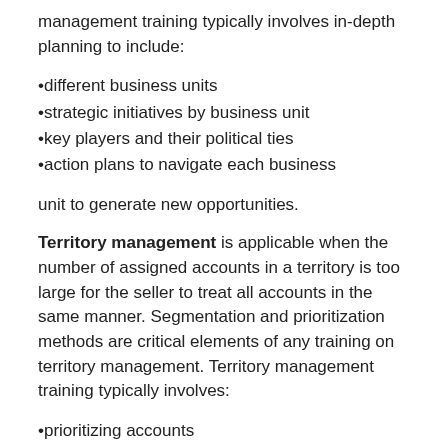management training typically involves in-depth planning to include:
•different business units
•strategic initiatives by business unit
•key players and their political ties
•action plans to navigate each business
unit to generate new opportunities.
Territory management is applicable when the number of assigned accounts in a territory is too large for the seller to treat all accounts in the same manner. Segmentation and prioritization methods are critical elements of any training on territory management. Territory management training typically involves:
•prioritizing accounts
•designing call patterns
•executing calls according to the desired patterns.